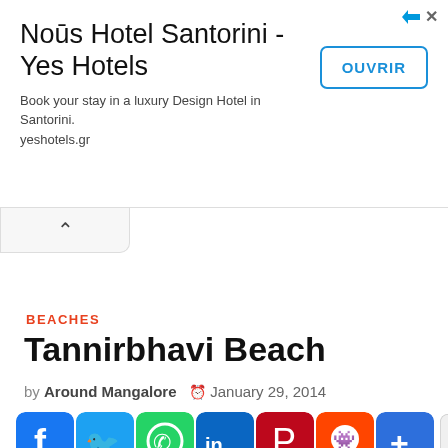[Figure (screenshot): Advertisement banner for Noūs Hotel Santorini - Yes Hotels with OUVRIR button]
Noūs Hotel Santorini - Yes Hotels
Book your stay in a luxury Design Hotel in Santorini.
yeshotels.gr
BEACHES
Tannirbhavi Beach
by Around Mangalore  January 29, 2014
[Figure (screenshot): Social share icons: Facebook, Twitter, WhatsApp, LinkedIn, Pinterest, Reddit, Share, and a blank button]